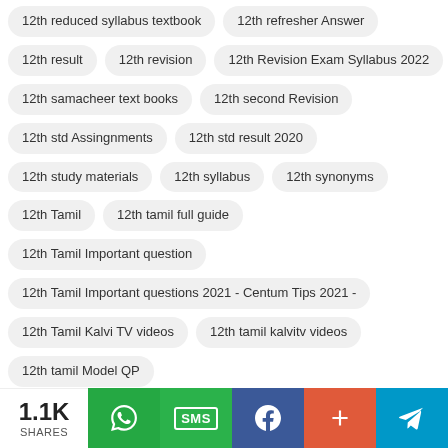12th reduced syllabus textbook
12th refresher Answer
12th result
12th revision
12th Revision Exam Syllabus 2022
12th samacheer text books
12th second Revision
12th std Assingnments
12th std result 2020
12th study materials
12th syllabus
12th synonyms
12th Tamil
12th tamil full guide
12th Tamil Important question
12th Tamil Important questions 2021 - Centum Tips 2021 -
12th Tamil Kalvi TV videos
12th tamil kalvitv videos
12th tamil Model QP
12th Tamil Reduced syllabus 2021 PDF Download // Deleted
1.1K SHARES